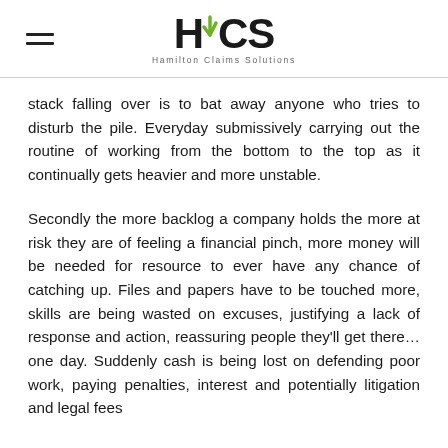HCS Hamilton Claims Solutions
stack falling over is to bat away anyone who tries to disturb the pile. Everyday submissively carrying out the routine of working from the bottom to the top as it continually gets heavier and more unstable.
Secondly the more backlog a company holds the more at risk they are of feeling a financial pinch, more money will be needed for resource to ever have any chance of catching up. Files and papers have to be touched more, skills are being wasted on excuses, justifying a lack of response and action, reassuring people they'll get there… one day. Suddenly cash is being lost on defending poor work, paying penalties, interest and potentially litigation and legal fees